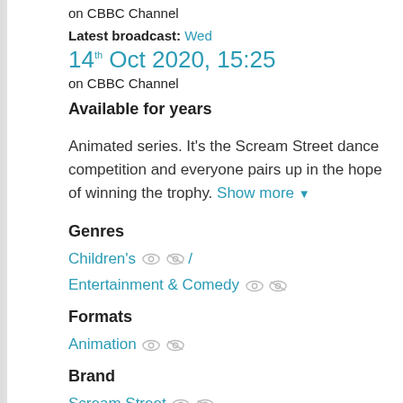on CBBC Channel
Latest broadcast: Wed 14th Oct 2020, 15:25 on CBBC Channel
Available for years
Animated series. It's the Scream Street dance competition and everyone pairs up in the hope of winning the trophy. Show more
Genres
Children's / Entertainment & Comedy
Formats
Animation
Brand
Scream Street